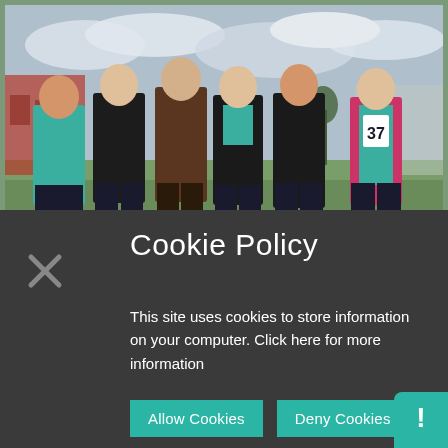[Figure (photo): Six teenage girls standing together outdoors on a grass field, some wearing teal athletic vests/tops, one wearing number 37, with sports facilities and cloudy sky in background.]
Cookie Policy
This site uses cookies to store information on your computer. Click here for more information
Allow Cookies
Deny Cookies